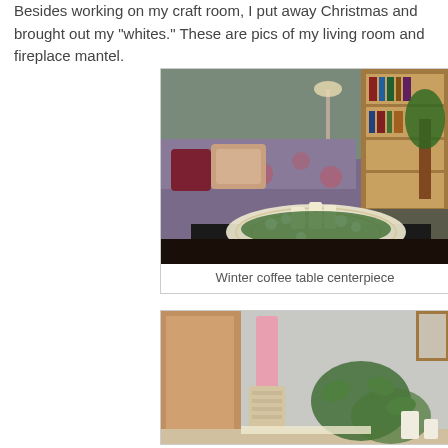Besides working on my craft room, I put away Christmas and brought out my "whites."  These are pics of my living room and fireplace mantel.
[Figure (photo): Interior living room photo showing a floral sofa with pillows, bookcase in background, and a coffee table with a lace doily centerpiece featuring white candles and white roses arranged on greenery]
Winter coffee table centerpiece
[Figure (photo): Fireplace mantel photo showing decorative candlestick, ivy and white decorative items arranged as a winter white vignette]